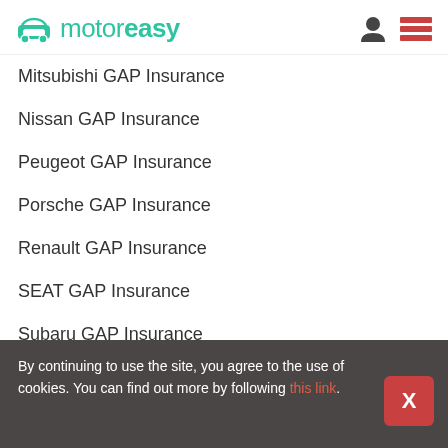motoreasy
Mitsubishi GAP Insurance
Nissan GAP Insurance
Peugeot GAP Insurance
Porsche GAP Insurance
Renault GAP Insurance
SEAT GAP Insurance
Subaru GAP Insurance
Suzuki GAP Insurance
Toyota GAP Insurance
Vauxhall GAP Insurance
By continuing to use the site, you agree to the use of cookies. You can find out more by following this link.